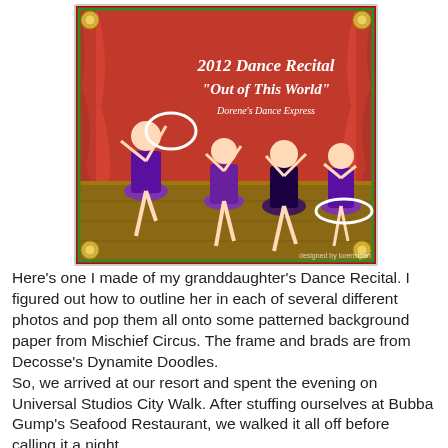[Figure (photo): Dance recital composite photo showing three young girls in purple tutus dancing on a stage background with red curtains. Text overlay reads '2012 Dance Recital "Out of This World" Dorene's Dance Express'. The image has a decorative frame with candy-cane pattern borders and brad embellishments at the corners.]
Here's one I made of my granddaughter's Dance Recital. I figured out how to outline her in each of several different photos and pop them all onto some patterned background paper from Mischief Circus. The frame and brads are from Decosse's Dynamite Doodles.
So, we arrived at our resort and spent the evening on Universal Studios City Walk. After stuffing ourselves at Bubba Gump's Seafood Restaurant, we walked it all off before calling it a night.